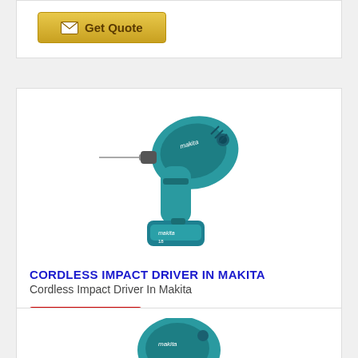[Figure (other): Get Quote button at top of page (partially visible card)]
[Figure (photo): Makita cordless impact driver with battery pack, teal/blue-green color]
CORDLESS IMPACT DRIVER IN MAKITA
Cordless Impact Driver In Makita
[Figure (logo): Makita brand logo — red rectangle with white italicized 'makita' text]
Dubai,United Arab Emirates
[Figure (other): Get Quote button]
[Figure (photo): Partially visible Makita tool at bottom of page]